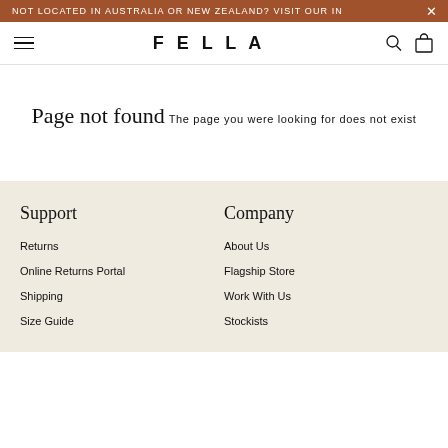NOT LOCATED IN AUSTRALIA OR NEW ZEALAND? VISIT OUR IN
FELLA
Page not found
The page you were looking for does not exist
Support
Company
Returns
About Us
Online Returns Portal
Flagship Store
Shipping
Work With Us
Size Guide
Stockists